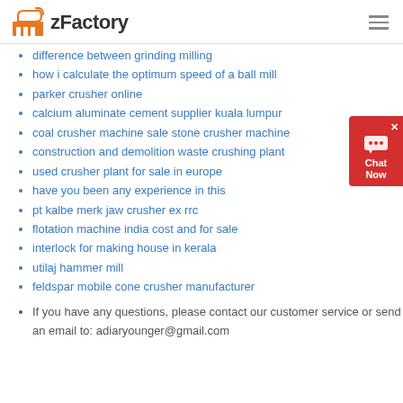zFactory
difference between grinding milling
how i calculate the optimum speed of a ball mill
parker crusher online
calcium aluminate cement supplier kuala lumpur
coal crusher machine sale stone crusher machine
construction and demolition waste crushing plant
used crusher plant for sale in europe
have you been any experience in this
pt kalbe merk jaw crusher ex rrc
flotation machine india cost and for sale
interlock for making house in kerala
utilaj hammer mill
feldspar mobile cone crusher manufacturer
If you have any questions, please contact our customer service or send an email to: adiaryounger@gmail.com